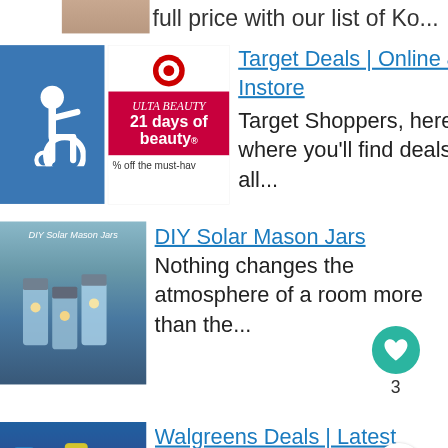full price with our list of Ko...
[Figure (screenshot): Target '21 days of beauty' promotional image with Target logo and text '% off the must-hav']
[Figure (illustration): Wheelchair accessibility icon on blue background]
Target Deals | Online & Instore
Target Shoppers, here's where you'll find deals on all...
[Figure (photo): DIY Solar Mason Jars - blue mason jars with solar lights]
DIY Solar Mason Jars Nothing changes the atmosphere of a room more than the...
[Figure (photo): Walgreens deals image with various products]
Walgreens Deals | Latest Offers & Rewards If you're an avid Walgreens shopper or beginner...
[Figure (screenshot): Advertisement banner: We Stand Together]
WHAT'S NEXT → Cilantro Lime Basmati Rice